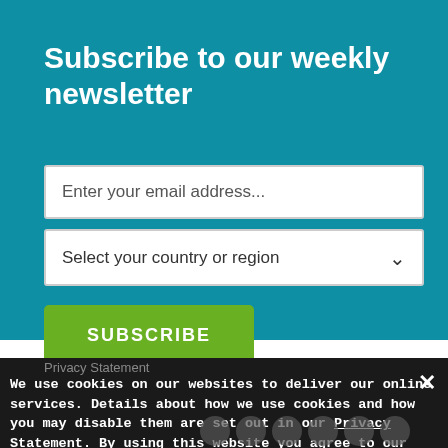Subscribe to our weekly newsletter
Enter your email address...
Select your country or region
SUBSCRIBE
Privacy Statement
We use cookies on our websites to deliver our online services. Details about how we use cookies and how you may disable them are set out in our Privacy Statement. By using this website you agree to our use of cookies.